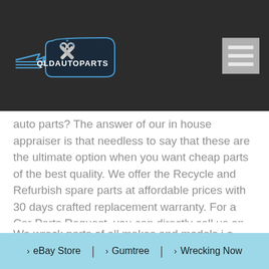[Figure (logo): QLDAUTOPARTS logo with crossed wrenches and wings on dark background]
auto parts? The answer of our in house appraiser is that needless to say that these are the ultimate option when you want cheap parts of the best quality. We offer the Recycle and Refurbish spare parts at affordable prices with 30 days crafted replacement warranty. For a Car Parts Request, you can directly call us on 04 3350 3503.
We wreck parts of all makes and models i.e.,
> eBay Store | > Gumtree | > Wrecking Now